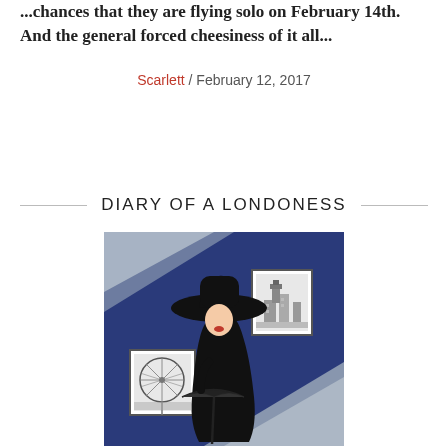...chances that they are flying solo on February 14th. And the general forced cheesiness of it all...
Scarlett / February 12, 2017
DIARY OF A LONDONESS
[Figure (illustration): Stylized art deco illustration of an elegantly dressed woman in a wide-brimmed black hat and black dress, holding an umbrella, against a dark navy blue diagonal background with framed pictures of the London Eye and Big Ben/Parliament buildings on the wall.]